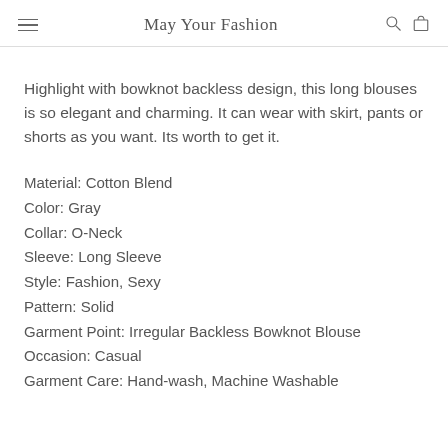May Your Fashion
Highlight with bowknot backless design, this long blouses is so elegant and charming. It can wear with skirt, pants or shorts as you want. Its worth to get it.
Material: Cotton Blend
Color: Gray
Collar: O-Neck
Sleeve: Long Sleeve
Style: Fashion, Sexy
Pattern: Solid
Garment Point: Irregular Backless Bowknot Blouse
Occasion: Casual
Garment Care: Hand-wash, Machine Washable